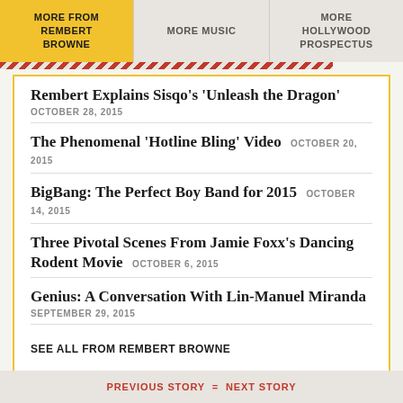MORE FROM REMBERT BROWNE
MORE MUSIC
MORE HOLLYWOOD PROSPECTUS
Rembert Explains Sisqo's 'Unleash the Dragon' OCTOBER 28, 2015
The Phenomenal 'Hotline Bling' Video OCTOBER 20, 2015
BigBang: The Perfect Boy Band for 2015 OCTOBER 14, 2015
Three Pivotal Scenes From Jamie Foxx's Dancing Rodent Movie OCTOBER 6, 2015
Genius: A Conversation With Lin-Manuel Miranda SEPTEMBER 29, 2015
SEE ALL FROM REMBERT BROWNE
PREVIOUS STORY = NEXT STORY